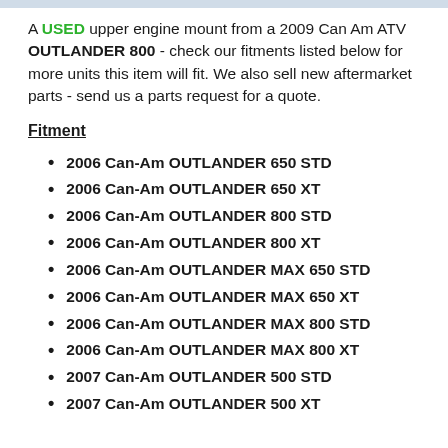A USED upper engine mount from a 2009 Can Am ATV OUTLANDER 800 - check our fitments listed below for more units this item will fit. We also sell new aftermarket parts - send us a parts request for a quote.
Fitment
2006 Can-Am OUTLANDER 650 STD
2006 Can-Am OUTLANDER 650 XT
2006 Can-Am OUTLANDER 800 STD
2006 Can-Am OUTLANDER 800 XT
2006 Can-Am OUTLANDER MAX 650 STD
2006 Can-Am OUTLANDER MAX 650 XT
2006 Can-Am OUTLANDER MAX 800 STD
2006 Can-Am OUTLANDER MAX 800 XT
2007 Can-Am OUTLANDER 500 STD
2007 Can-Am OUTLANDER 500 XT